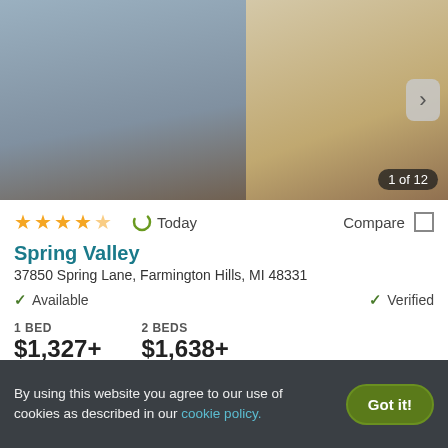[Figure (photo): Apartment interior photo showing hallway with hardwood floors and kitchen area. Navigation arrow on right side. Badge showing '1 of 12'.]
★★★★★  Today  Compare
Spring Valley
37850 Spring Lane, Farmington Hills, MI 48331
✓ Available   ✓ Verified
1 BED
$1,327+

2 BEDS
$1,638+
View Details   Contact Property
By using this website you agree to our use of cookies as described in our cookie policy.   Got it!